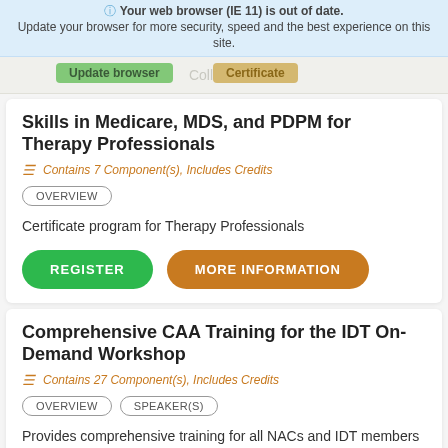Your web browser (IE 11) is out of date. Update your browser for more security, speed and the best experience on this site. Update browser
Collabor... Certificate of Skills in Medicare, MDS, and PDPM for Therapy Professionals
Contains 7 Component(s), Includes Credits
OVERVIEW
Certificate program for Therapy Professionals
REGISTER | MORE INFORMATION
Comprehensive CAA Training for the IDT On-Demand Workshop
Contains 27 Component(s), Includes Credits
OVERVIEW | SPEAKER(S)
Provides comprehensive training for all NACs and IDT members responsible for the care area assessment